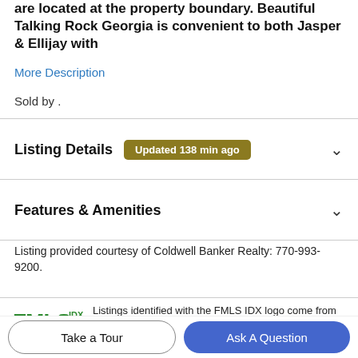are located at the property boundary. Beautiful Talking Rock Georgia is convenient to both Jasper & Ellijay with
More Description
Sold by .
Listing Details  Updated 138 min ago
Features & Amenities
Listing provided courtesy of Coldwell Banker Realty: 770-993-9200.
Listings identified with the FMLS IDX logo come from FMLS, are held by brokerage firms other than the owner of this website and the listing brokerage is identified in any listing details. Information is deemed reliable but is
Take a Tour
Ask A Question